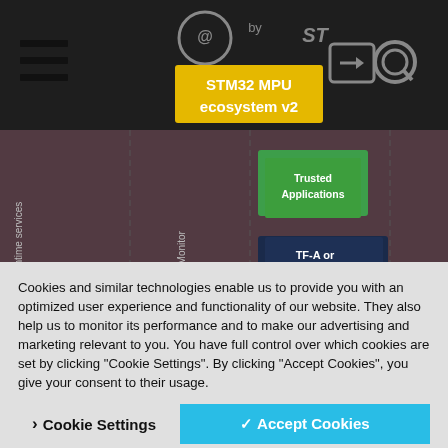[Figure (screenshot): Screenshot of STM32 MPU ecosystem v2 webpage showing a software architecture diagram with components: Runtime services, Secure Monitor, Trusted Applications, TF-A or mOP-TEE, User space with Linux Applications and Application frameworks, Kernel space with Linux. Navigation bar with hamburger menu, search icon, and STM32 MPU ecosystem v2 label in yellow.]
Cookies and similar technologies enable us to provide you with an optimized user experience and functionality of our website. They also help us to monitor its performance and to make our advertising and marketing relevant to you. You have full control over which cookies are set by clicking "Cookie Settings". By clicking "Accept Cookies", you give your consent to their usage.